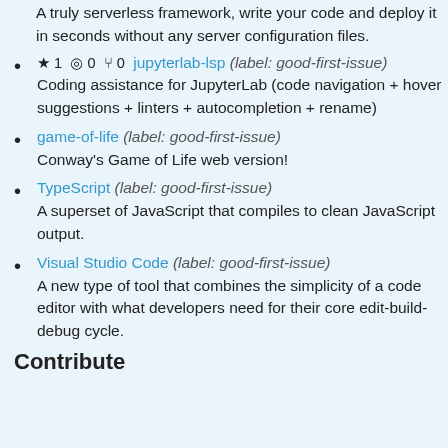A truly serverless framework, write your code and deploy it in seconds without any server configuration files.
★ 1 👁 0 ⑂ 0 jupyterlab-lsp (label: good-first-issue) Coding assistance for JupyterLab (code navigation + hover suggestions + linters + autocompletion + rename)
game-of-life (label: good-first-issue) Conway's Game of Life web version!
TypeScript (label: good-first-issue) A superset of JavaScript that compiles to clean JavaScript output.
Visual Studio Code (label: good-first-issue) A new type of tool that combines the simplicity of a code editor with what developers need for their core edit-build-debug cycle.
Contribute